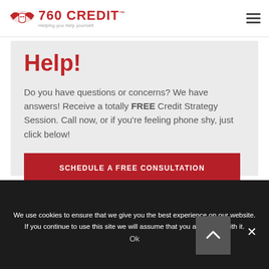760 CREDIT — Helping you help yourself.
Help!
Do you have questions or concerns? We have answers! Receive a totally FREE Credit Strategy Session. Call now, or if you're feeling phone shy, just click below!
SCHEDULE A FREE CONSULTATION
We use cookies to ensure that we give you the best experience on our website. If you continue to use this site we will assume that you are happy with it.
Ok